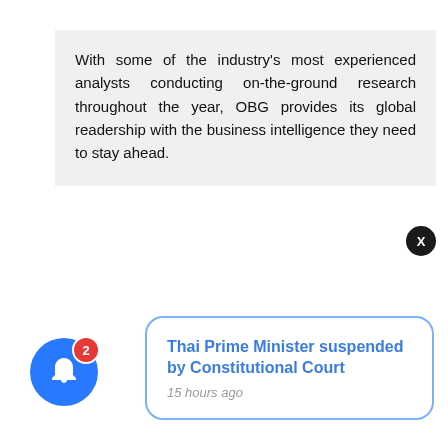With some of the industry's most experienced analysts conducting on-the-ground research throughout the year, OBG provides its global readership with the business intelligence they need to stay ahead.
[Figure (screenshot): Push notification popup with close button (X), showing headline 'Thai Prime Minister suspended by Constitutional Court' and timestamp '15 hours ago', with a blue rounded rectangle border]
[Figure (infographic): Blue circular bell icon with a red badge showing the number 2]